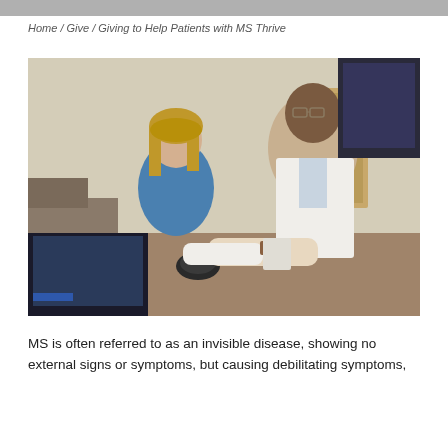Home / Give / Giving to Help Patients with MS Thrive
[Figure (photo): A doctor in a white lab coat with a red tie sits at a computer workstation, gesturing toward a screen, while a female patient in a teal top sits behind him in a medical exam room with beige walls and wooden furniture.]
MS is often referred to as an invisible disease, showing no external signs or symptoms, but causing debilitating symptoms,